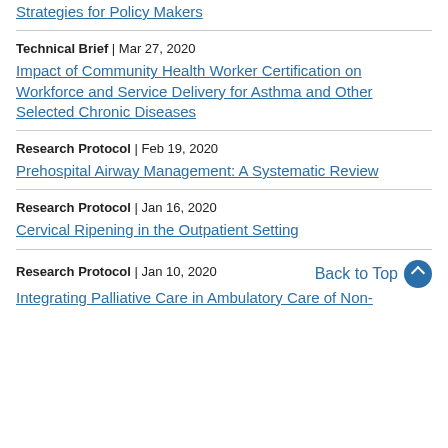Strategies for Policy Makers
Technical Brief | Mar 27, 2020
Impact of Community Health Worker Certification on Workforce and Service Delivery for Asthma and Other Selected Chronic Diseases
Research Protocol | Feb 19, 2020
Prehospital Airway Management: A Systematic Review
Research Protocol | Jan 16, 2020
Cervical Ripening in the Outpatient Setting
Research Protocol | Jan 10, 2020
Back to Top
Integrating Palliative Care in Ambulatory Care of Non-